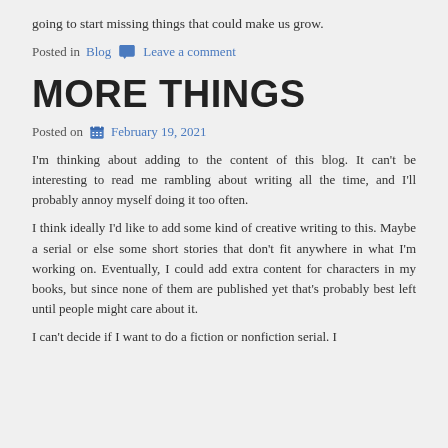going to start missing things that could make us grow.
Posted in Blog  Leave a comment
MORE THINGS
Posted on  February 19, 2021
I'm thinking about adding to the content of this blog.  It can't be interesting to read me rambling about writing all the time, and I'll probably annoy myself doing it too often.
I think ideally I'd like to add some kind of creative writing to this.  Maybe a serial or else some short stories that don't fit anywhere in what I'm working on.  Eventually, I could add extra content for characters in my books, but since none of them are published yet that's probably best left until people might care about it.
I can't decide if I want to do a fiction or nonfiction serial.  I